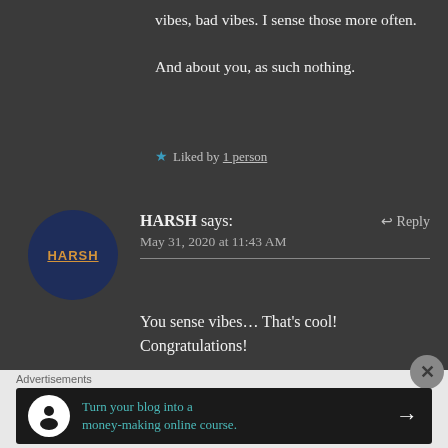vibes, bad vibes. I sense those more often.
And about you, as such nothing.
★ Liked by 1 person
[Figure (illustration): Dark navy circle avatar with text HARSH in orange/gold with underline]
HARSH says:
May 31, 2020 at 11:43 AM
↩ Reply
You sense vibes… That's cool! Congratulations!
Advertisements
[Figure (infographic): Dark banner ad: circular white icon with person/building symbol, teal text reading Turn your blog into a money-making online course. with white arrow on right]